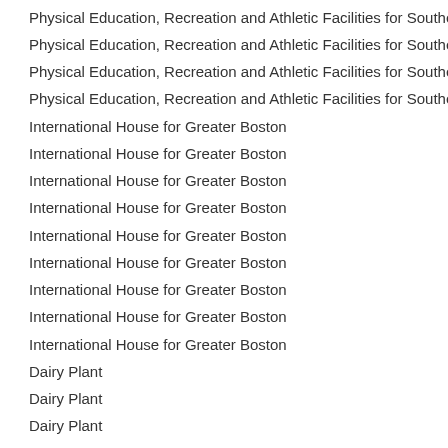Physical Education, Recreation and Athletic Facilities for Southeastern Lo
Physical Education, Recreation and Athletic Facilities for Southeastern Lo
Physical Education, Recreation and Athletic Facilities for Southeastern Lo
Physical Education, Recreation and Athletic Facilities for Southeastern Lo
International House for Greater Boston
International House for Greater Boston
International House for Greater Boston
International House for Greater Boston
International House for Greater Boston
International House for Greater Boston
International House for Greater Boston
International House for Greater Boston
International House for Greater Boston
Dairy Plant
Dairy Plant
Dairy Plant
Dairy Plant
Dairy Plant
Dairy Plant
Clubhouse for the Eastern Yacht Club
Clubhouse for the Eastern Yacht Club